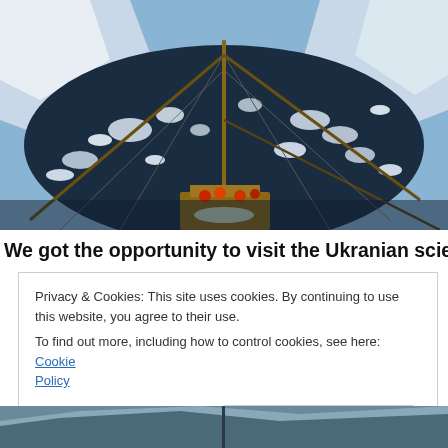[Figure (photo): Aerial fisheye view from ship mast looking down over a sailing vessel navigating through icy Antarctic waters with snow-covered mountains in the background]
We got the opportunity to visit the Ukranian scientific base,
Privacy & Cookies: This site uses cookies. By continuing to use this website, you agree to their use.
To find out more, including how to control cookies, see here: Cookie Policy

[Close and accept]
[Figure (photo): Partial view of another Antarctic landscape photo at the bottom of the page]